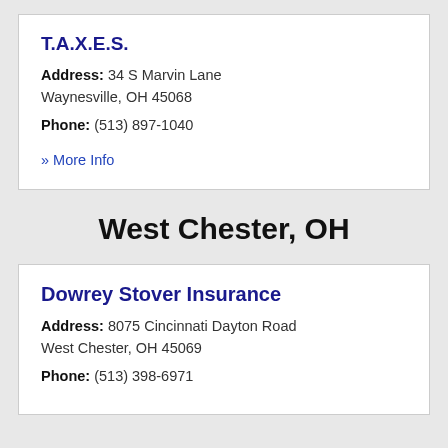T.A.X.E.S.
Address: 34 S Marvin Lane Waynesville, OH 45068
Phone: (513) 897-1040
» More Info
West Chester, OH
Dowrey Stover Insurance
Address: 8075 Cincinnati Dayton Road West Chester, OH 45069
Phone: (513) 398-6971